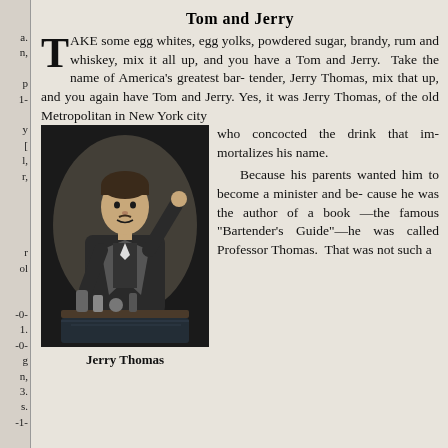Tom and Jerry
TAKE some egg whites, egg yolks, powdered sugar, brandy, rum and whiskey, mix it all up, and you have a Tom and Jerry. Take the name of America's greatest bartender, Jerry Thomas, mix that up, and you again have Tom and Jerry. Yes, it was Jerry Thomas, of the old Metropolitan in New York city who concocted the drink that immortalizes his name.

Because his parents wanted him to become a minister and because he was the author of a book—the famous "Bartender's Guide"—he was called Professor Thomas. That was not such a
[Figure (illustration): Black and white illustration of Jerry Thomas, a man in Victorian-era attire raising his hand, with bottles and glasses on a table in front of him.]
Jerry Thomas